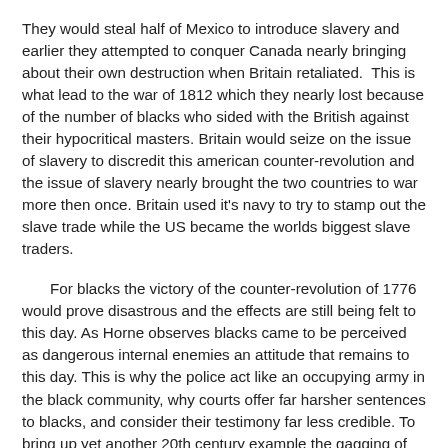They would steal half of Mexico to introduce slavery and earlier they attempted to conquer Canada nearly bringing about their own destruction when Britain retaliated.  This is what lead to the war of 1812 which they nearly lost because of the number of blacks who sided with the British against their hypocritical masters. Britain would seize on the issue of slavery to discredit this american counter-revolution and the issue of slavery nearly brought the two countries to war more then once. Britain used it's navy to try to stamp out the slave trade while the US became the worlds biggest slave traders.
For blacks the victory of the counter-revolution of 1776 would prove disastrous and the effects are still being felt to this day. As Horne observes blacks came to be perceived as dangerous internal enemies an attitude that remains to this day. This is why the police act like an occupying army in the black community, why courts offer far harsher sentences to blacks, and consider their testimony far less credible. To bring up yet another 20th century example the gagging of Bobby Seale during the Chicago conspiracy show trial in the late 60's is a logical extension of the Gaspee affair.  Above